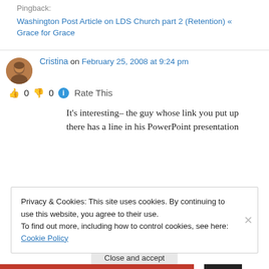Pingback: Washington Post Article on LDS Church part 2 (Retention) « Grace for Grace
Cristina on February 25, 2008 at 9:24 pm
👍 0 👎 0 ℹ Rate This
It's interesting– the guy whose link you put up there has a line in his PowerPoint presentation
Privacy & Cookies: This site uses cookies. By continuing to use this website, you agree to their use.
To find out more, including how to control cookies, see here: Cookie Policy